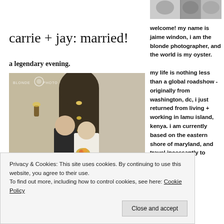[Figure (photo): Black and white photo strip at top right, appears to show people]
carrie + jay: married!
a legendary evening.
[Figure (photo): Wedding photo of a couple (man in dark suit, woman in white dress holding flowers) standing in front of an arched hallway with lights. Blonde Photo watermark visible.]
welcome! my name is jaime windon, i am the blonde photographer, and the world is my oyster.

my life is nothing less than a global roadshow - originally from washington, dc, i just returned from living + working in lamu island, kenya. i am currently based on the eastern shore of maryland, and travel incessantly to
Privacy & Cookies: This site uses cookies. By continuing to use this website, you agree to their use.
To find out more, including how to control cookies, see here: Cookie Policy